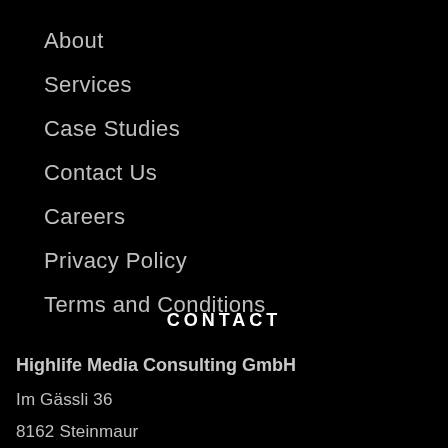About
Services
Case Studies
Contact Us
Careers
Privacy Policy
Terms and Conditions
CONTACT
Highlife Media Consulting GmbH
Im Gässli 36
8162 Steinmaur